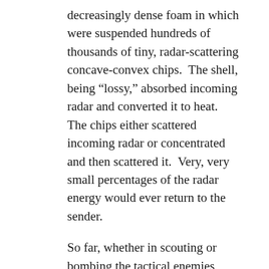decreasingly dense foam in which were suspended hundreds of thousands of tiny, radar-scattering concave-convex chips.  The shell, being “lossy,” absorbed incoming radar and converted it to heat.  The chips either scattered incoming radar or concentrated and then scattered it.  Very, very small percentages of the radar energy would ever return to the sender.
So far, whether in scouting or bombing the tactical enemies, carrying messengers and senior leaders, bombing the Tauran Union on their home turf, bombing Cienfuegos, killing foreign dignitaries and even chiefs of state, delivering a nuclear weapon, or, indeed, scouting the United Earth Peace Fleet’s Atlantis Base, the amount of radar returned had never